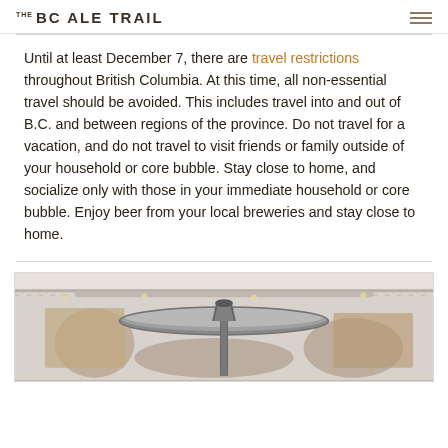THE BC ALE TRAIL
Until at least December 7, there are travel restrictions throughout British Columbia. At this time, all non-essential travel should be avoided. This includes travel into and out of B.C. and between regions of the province. Do not travel for a vacation, and do not travel to visit friends or family outside of your household or core bubble. Stay close to home, and socialize only with those in your immediate household or core bubble. Enjoy beer from your local breweries and stay close to home.
[Figure (photo): A patio heater photographed from below, showing the mushroom-shaped metal cap, with an outdoor patio area visible in the background.]